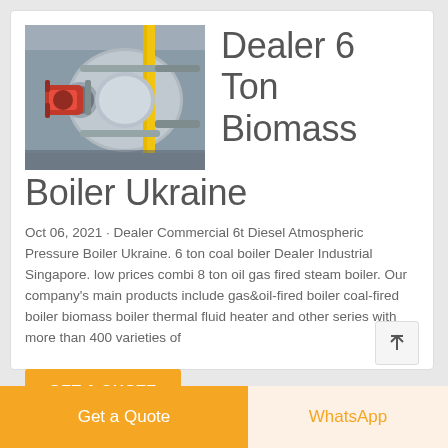[Figure (photo): Industrial biomass boiler installation in a facility, showing a large cylindrical boiler with red burner, yellow pipes, and grey pipework.]
Dealer 6 Ton Biomass Boiler Ukraine
Oct 06, 2021 · Dealer Commercial 6t Diesel Atmospheric Pressure Boiler Ukraine. 6 ton coal boiler Dealer Industrial Singapore. low prices combi 8 ton oil gas fired steam boiler. Our company's main products include gas&oil-fired boiler coal-fired boiler biomass boiler thermal fluid heater and other series with more than 400 varieties of
GET A QUOTE
Get a Quote
WhatsApp